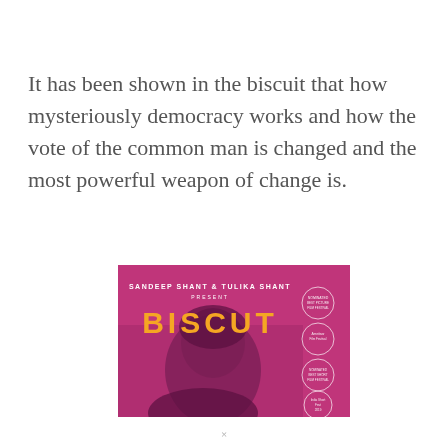It has been shown in the biscuit that how mysteriously democracy works and how the vote of the common man is changed and the most powerful weapon of change is.
[Figure (photo): Movie poster for 'BISCUT' presented by Sandeep Shant & Tulika Shant. Pink/magenta background with a silhouette of a person's head. Yellow bold text reads 'BISCUT'. Festival laurels on the right side.]